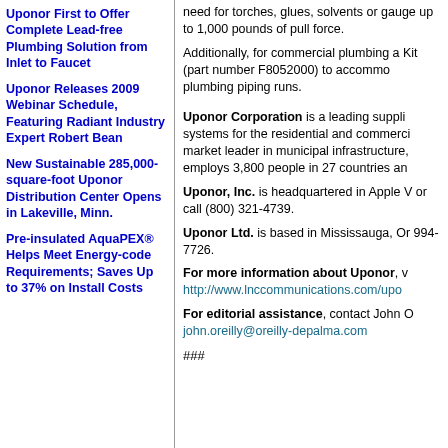Uponor First to Offer Complete Lead-free Plumbing Solution from Inlet to Faucet
Uponor Releases 2009 Webinar Schedule, Featuring Radiant Industry Expert Robert Bean
New Sustainable 285,000-square-foot Uponor Distribution Center Opens in Lakeville, Minn.
Pre-insulated AquaPEX® Helps Meet Energy-code Requirements; Saves Up to 37% on Install Costs
need for torches, glues, solvents or gauges, and resists up to 1,000 pounds of pull force.
Additionally, for commercial plumbing a Kit (part number F8052000) to accommodate plumbing piping runs.
Uponor Corporation is a leading supplier of systems for the residential and commercial market leader in municipal infrastructure, employs 3,800 people in 27 countries and
Uponor, Inc. is headquartered in Apple V or call (800) 321-4739.
Uponor Ltd. is based in Mississauga, On 994-7726.
For more information about Uponor, visit http://www.lnccommunications.com/upo
For editorial assistance, contact John O john.oreilly@oreilly-depalma.com
###